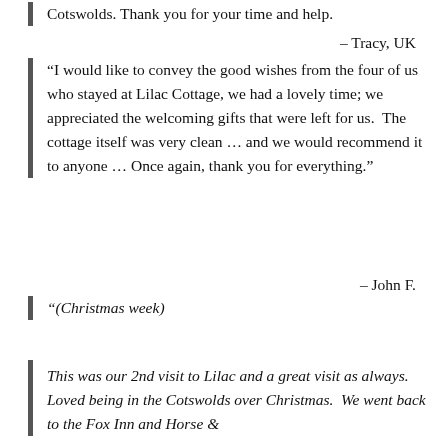Cotswolds. Thank you for your time and help.
– Tracy, UK
“I would like to convey the good wishes from the four of us who stayed at Lilac Cottage, we had a lovely time; we appreciated the welcoming gifts that were left for us. The cottage itself was very clean … and we would recommend it to anyone … Once again, thank you for everything.”
– John F.
“(Christmas week)
This was our 2nd visit to Lilac and a great visit as always. Loved being in the Cotswolds over Christmas. We went back to the Fox Inn and Horse &